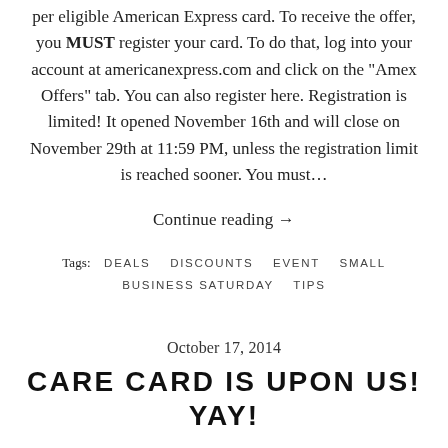per eligible American Express card. To receive the offer, you MUST register your card. To do that, log into your account at americanexpress.com and click on the "Amex Offers" tab. You can also register here. Registration is limited! It opened November 16th and will close on November 29th at 11:59 PM, unless the registration limit is reached sooner. You must…
Continue reading →
Tags:  DEALS  DISCOUNTS  EVENT  SMALL BUSINESS SATURDAY  TIPS
October 17, 2014
CARE CARD IS UPON US! YAY!
Looking for an excuse to shop guilt-free? Purchase a